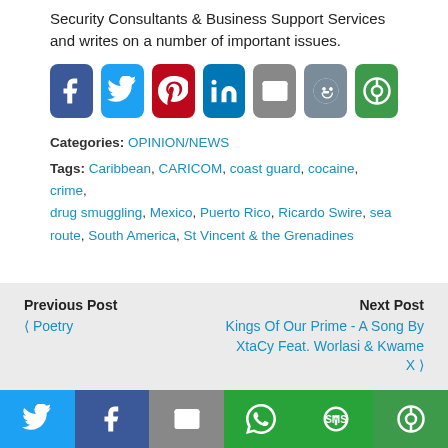Security Consultants & Business Support Services and writes on a number of important issues.
[Figure (infographic): Row of social share icon buttons: Facebook (blue), Twitter (light blue), Pinterest (red), LinkedIn (blue), Email (grey), Reddit (grey-blue), More/Circleboom (green)]
Categories: OPINION/NEWS
Tags: Caribbean, CARICOM, coast guard, cocaine, crime, drug smuggling, Mexico, Puerto Rico, Ricardo Swire, sea route, South America, St Vincent & the Grenadines
Previous Post
< Poetry
Next Post
Kings Of Our Prime - A Song By XtaCy Feat. Worlasi & Kwame X >
[Figure (infographic): Bottom share bar with icons: Twitter (blue), Facebook (dark blue), Email (grey), WhatsApp (green), SMS (green), More (green)]